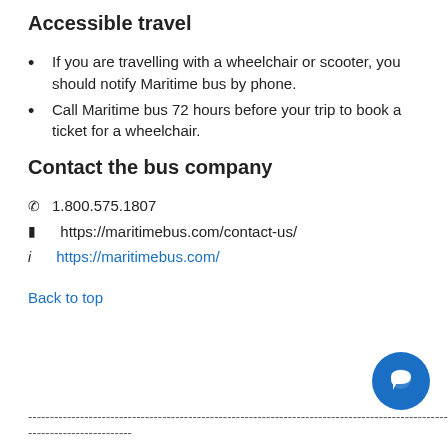Accessible travel
If you are travelling with a wheelchair or scooter, you should notify Maritime bus by phone.
Call Maritime bus 72 hours before your trip to book a ticket for a wheelchair.
Contact the bus company
📞 1.800.575.1807
🌐 https://maritimebus.com/contact-us/
ℹ https://maritimebus.com/
Back to top
--------------------------------------------------------------------------------------------------------
------------------------